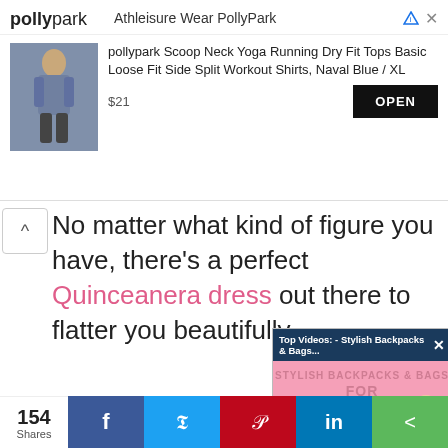[Figure (screenshot): Ad banner for Polly Park Athleisure Wear featuring a yoga shirt product listing with price $21 and OPEN button]
No matter what kind of figure you have, there's a perfect Quinceanera dress out there to flatter you beautifully.
Pear-shaped
Busty
Plus-sized
Tall
Petite
Silhouette
[Figure (screenshot): Video overlay: Top Videos - Stylish Backpacks & Bags for Back-To-School with mute button and product imagery]
[Figure (screenshot): Share bar with 154 Shares, Facebook, Twitter, Pinterest, LinkedIn, and share icons]